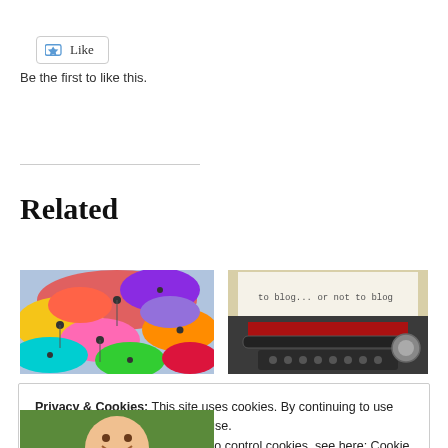[Figure (other): Like button widget with star/bookmark icon]
Be the first to like this.
[Figure (photo): Colorful umbrellas from above]
[Figure (photo): Vintage typewriter with paper reading 'to blog... or not to blog']
Related
Privacy & Cookies: This site uses cookies. By continuing to use this website, you agree to their use.
To find out more, including how to control cookies, see here: Cookie Policy
[Figure (photo): Partial bottom image, person smiling outdoors]